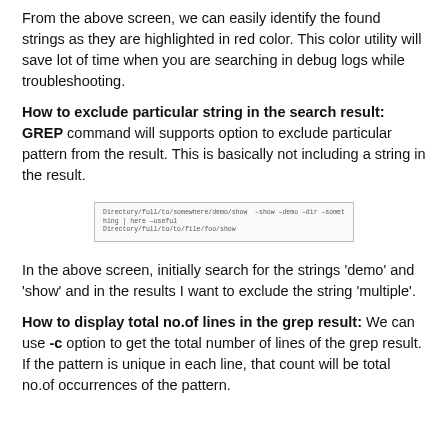From the above screen, we can easily identify the found strings as they are highlighted in red color. This color utility will save lot of time when you are searching in debug logs while troubleshooting.
How to exclude particular string in the search result:
GREP command will supports option to exclude particular pattern from the result. This is basically not including a string in the result.
[Figure (screenshot): Terminal screenshot showing grep command with exclude option, two lines of command output visible]
In the above screen, initially search for the strings 'demo' and 'show' and in the results I want to exclude the string 'multiple'.
How to display total no.of lines in the grep result:
We can use -c option to get the total number of lines of the grep result. If the pattern is unique in each line, that count will be total no.of occurrences of the pattern.